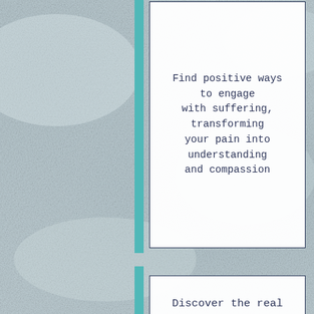[Figure (infographic): Infographic layout with stone/concrete textured background and two white bordered cards with teal accent bars on the left side of each card. Each card contains centered text in a monospace font with dark navy color.]
Find positive ways to engage with suffering, transforming your pain into understanding and compassion
Discover the real meaning of happiness and develop true peace in yourself and for the world
See how Buddhist wisdom